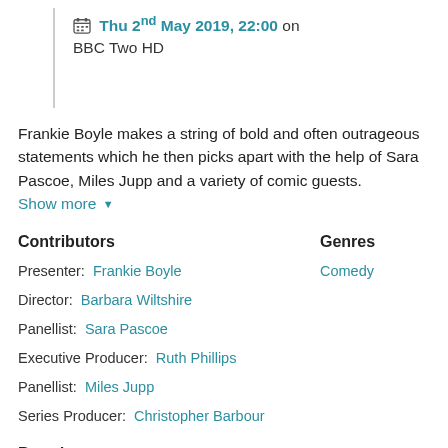Thu 2nd May 2019, 22:00 on BBC Two HD
Frankie Boyle makes a string of bold and often outrageous statements which he then picks apart with the help of Sara Pascoe, Miles Jupp and a variety of comic guests. Show more
Contributors
Genres
Presenter: Frankie Boyle
Comedy
Director: Barbara Wiltshire
Panellist: Sara Pascoe
Executive Producer: Ruth Phillips
Panellist: Miles Jupp
Series Producer: Christopher Barbour
Brand
Frankie Boyle's New World Order